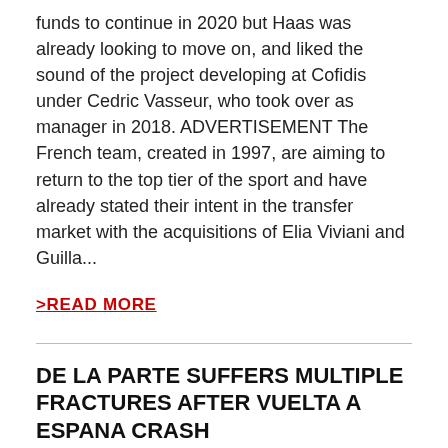funds to continue in 2020 but Haas was already looking to move on, and liked the sound of the project developing at Cofidis under Cedric Vasseur, who took over as manager in 2018. ADVERTISEMENT The French team, created in 1997, are aiming to return to the top tier of the sport and have already stated their intent in the transfer market with the acquisitions of Elia Viviani and Guilla...
>READ MORE
DE LA PARTE SUFFERS MULTIPLE FRACTURES AFTER VUELTA A ESPANA CRASH
Victor de la Parte ( CCC Team ) suffered multiple fractures as a result of the mass crash that saw him and three other riders abandon the Vuelta a Espa�a on stage 6. The Spaniard, who was placed 13th overall at the time, was immediately taken to hospital for X-rays. His team confirmed he had suffered a fractured left scapula and rib. Victor was involved in a crash which took down a big group